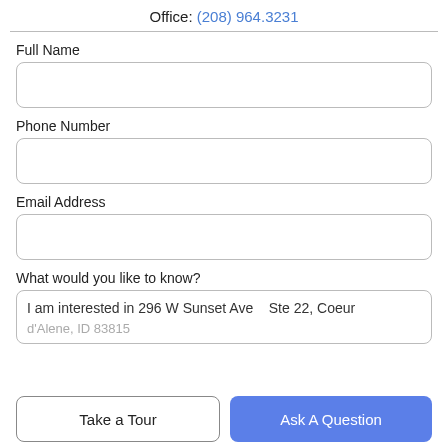Office: (208) 964.3231
Full Name
Phone Number
Email Address
What would you like to know?
I am interested in 296 W Sunset Ave   Ste 22, Coeur d'Alene, ID 83815
Take a Tour
Ask A Question